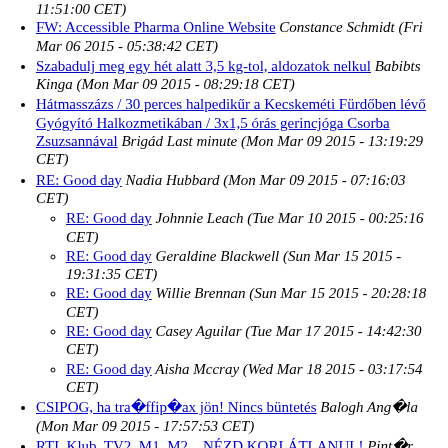11:51:00 CET)
FW: Accessible Pharma Online Website Constance Schmidt (Fri Mar 06 2015 - 05:38:42 CET)
Szabadulj meg egy hét alatt 3,5 kg-tol, aldozatok nelkul Babibts Kinga (Mon Mar 09 2015 - 08:29:18 CET)
Hátmasszázs / 30 perces halpedikűr a Kecskeméti Fürdőben lévő Gyógyító Halkozmetikában / 3x1,5 órás gerincjóga Csorba Zsuzsannával Brigád Last minute (Mon Mar 09 2015 - 13:19:29 CET)
RE: Good day Nadia Hubbard (Mon Mar 09 2015 - 07:16:03 CET)
RE: Good day Johnnie Leach (Tue Mar 10 2015 - 00:25:16 CET)
RE: Good day Geraldine Blackwell (Sun Mar 15 2015 - 19:31:35 CET)
RE: Good day Willie Brennan (Sun Mar 15 2015 - 20:28:18 CET)
RE: Good day Casey Aguilar (Tue Mar 17 2015 - 14:42:30 CET)
RE: Good day Aisha Mccray (Wed Mar 18 2015 - 03:17:54 CET)
CSIPOG, ha tra ffip ax jön! Nincs büntetés Balogh Angéla (Mon Mar 09 2015 - 17:57:53 CET)
RTL Klub, TV2, M1, M2... NÉZD KORLÁTLANUL! Pintér Jácint (Mon Mar 09 2015 -